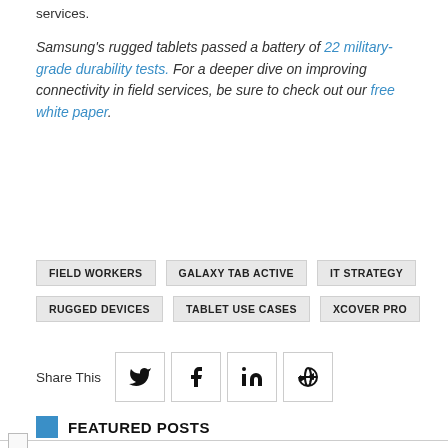services.
Samsung's rugged tablets passed a battery of 22 military-grade durability tests. For a deeper dive on improving connectivity in field services, be sure to check out our free white paper.
FIELD WORKERS
GALAXY TAB ACTIVE
IT STRATEGY
RUGGED DEVICES
TABLET USE CASES
XCOVER PRO
Share This
FEATURED POSTS